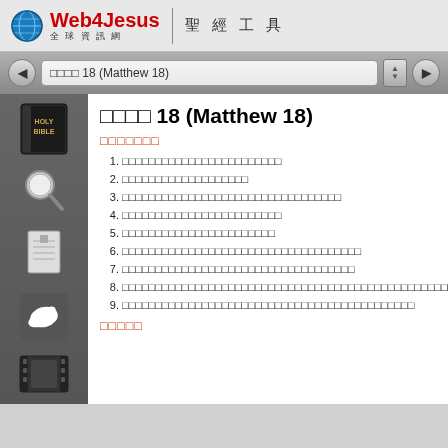Web4Jesus 聖經工具
□□□□ 18 (Matthew 18)
□□□□ 18 (Matthew 18)
□□□□□□□
1. □□□□□□□□□□□□□□□□□□□□□□□□
2. □□□□□□□□□□□□□□□□□□□
3. □□□□□□□□□□□□□□□□□□□□□□□□□□□□□□□□□
4. □□□□□□□□□□□□□□□□□□□□□□□□
5. □□□□□□□□□□□□□□□□□□□□□□□
6. □□□□□□□□□□□□□□□□□□□□□□□□□□□□□□□□□□□□
7. □□□□□□□□□□□□□□□□□□□□□□□□□□□□□□□□□□□
8. □□□□□□□□□□□□□□□□□□□□□□□□□□□□□□□□□□□□□□□□□□□□□□□□□□
9. □□□□□□□□□□□□□□□□□□□□□□□□□□□□□□□□□□□□□□□□□□□□
□□□□□